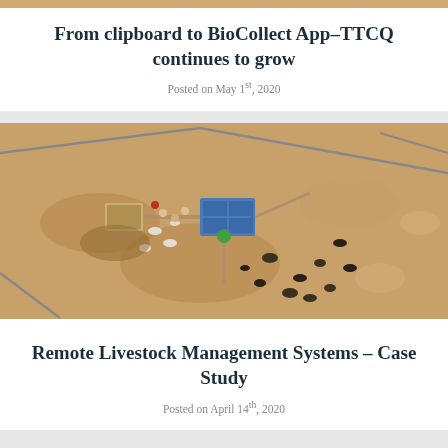From clipboard to BioCollect App–TTCQ continues to grow
Posted on May 1st, 2020
[Figure (photo): Aerial drone photograph of a remote livestock management station in an arid landscape, showing solar panels, water troughs, fencing, and cattle scattered around the facility on dry red earth.]
Remote Livestock Management Systems – Case Study
Posted on April 14th, 2020